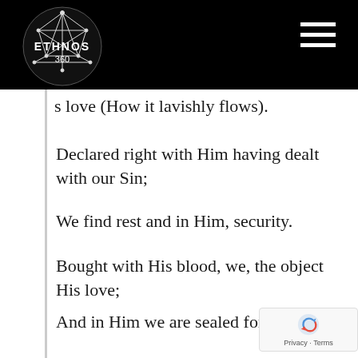[Figure (logo): Ethnos360 logo — white geometric globe/network icon with ETHNOS 360 text in white on black circular background]
s love (How it lavishly flows).
Declared right with Him having dealt with our Sin;
We find rest and in Him, security.
Bought with His blood, we, the object His love;
And in Him we are sealed for eternity.